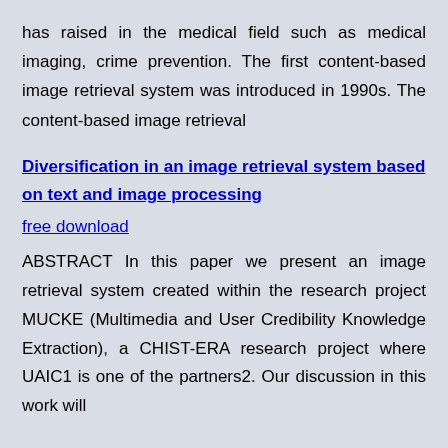has raised in the medical field such as medical imaging, crime prevention. The first content-based image retrieval system was introduced in 1990s. The content-based image retrieval
Diversification in an image retrieval system based on text and image processing
free download
ABSTRACT In this paper we present an image retrieval system created within the research project MUCKE (Multimedia and User Credibility Knowledge Extraction), a CHIST-ERA research project where UAIC1 is one of the partners2. Our discussion in this work will